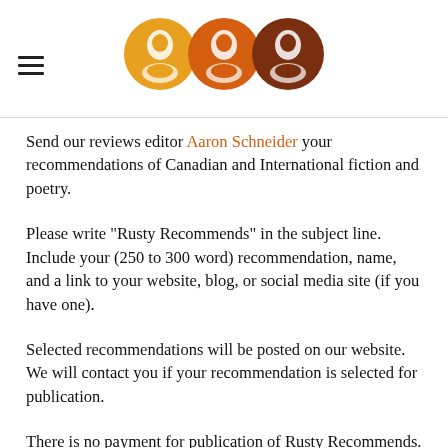[Navigation header with hamburger menu and logo icons]
Send our reviews editor Aaron Schneider your recommendations of Canadian and International fiction and poetry.
Please write "Rusty Recommends" in the subject line. Include your (250 to 300 word) recommendation, name, and a link to your website, blog, or social media site (if you have one).
Selected recommendations will be posted on our website. We will contact you if your recommendation is selected for publication.
There is no payment for publication of Rusty Recommends.
Archives